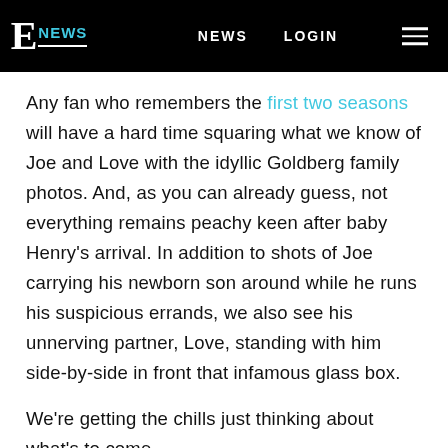E NEWS  NEWS  LOGIN
Any fan who remembers the first two seasons will have a hard time squaring what we know of Joe and Love with the idyllic Goldberg family photos. And, as you can already guess, not everything remains peachy keen after baby Henry's arrival. In addition to shots of Joe carrying his newborn son around while he runs his suspicious errands, we also see his unnerving partner, Love, standing with him side-by-side in front that infamous glass box.
We're getting the chills just thinking about what's to come.